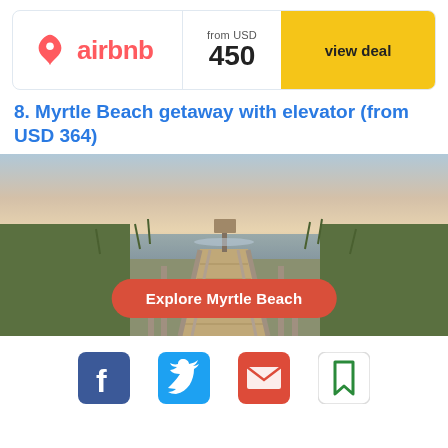[Figure (logo): Airbnb banner card with logo, price 'from USD 450', and 'view deal' yellow button]
8. Myrtle Beach getaway with elevator (from USD 364)
[Figure (photo): Beach boardwalk photo with wooden fence leading to the ocean at sunset, with 'Explore Myrtle Beach' red button overlay]
[Figure (infographic): Social sharing icons row: Facebook (blue), Twitter (blue), Email (red/envelope), Bookmark (green)]